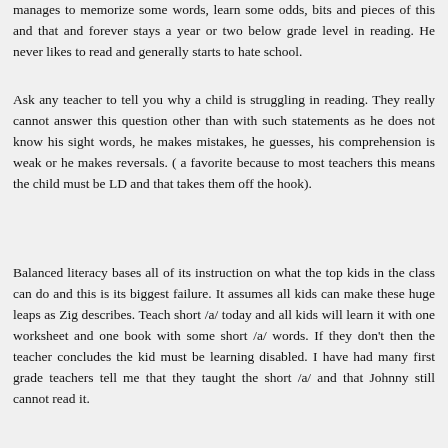manages to memorize some words, learn some odds, bits and pieces of this and that and forever stays a year or two below grade level in reading. He never likes to read and generally starts to hate school.
Ask any teacher to tell you why a child is struggling in reading. They really cannot answer this question other than with such statements as he does not know his sight words, he makes mistakes, he guesses, his comprehension is weak or he makes reversals. ( a favorite because to most teachers this means the child must be LD and that takes them off the hook).
Balanced literacy bases all of its instruction on what the top kids in the class can do and this is its biggest failure. It assumes all kids can make these huge leaps as Zig describes. Teach short /a/ today and all kids will learn it with one worksheet and one book with some short /a/ words. If they don't then the teacher concludes the kid must be learning disabled. I have had many first grade teachers tell me that they taught the short /a/ and that Johnny still cannot read it.